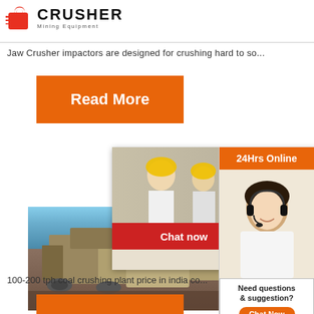[Figure (logo): CRUSHER Mining Equipment logo with red shopping bag icon]
Jaw Crusher impactors are designed for crushing hard to so...
[Figure (illustration): Orange Read More button]
[Figure (photo): Live Chat overlay with workers in yellow helmets, Chat now and Chat later buttons]
[Figure (photo): Mining equipment/crusher plant photo]
Crush
Plant
India
100-200 tph coal crushing plant price in india co...
[Figure (illustration): 24Hrs Online sidebar with customer service agent photo, Need questions & suggestion? Chat Now, Enquiry, limingjlmofen@sina.com]